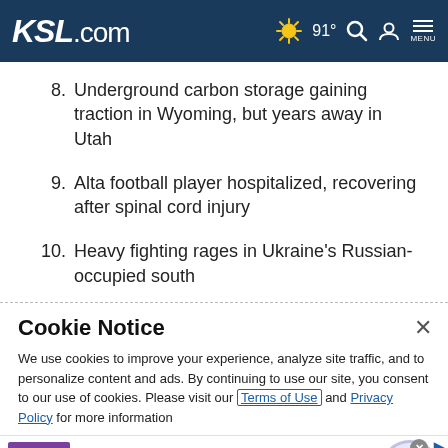KSL.com — 91° Search Account Menu
8. Underground carbon storage gaining traction in Wyoming, but years away in Utah
9. Alta football player hospitalized, recovering after spinal cord injury
10. Heavy fighting rages in Ukraine's Russian-occupied south
Cookie Notice
We use cookies to improve your experience, analyze site traffic, and to personalize content and ads. By continuing to use our site, you consent to our use of cookies. Please visit our Terms of Use and Privacy Policy for more information
Wayfair.com - Online Home Store Sale! Shop for A Zillion Things Home across all styles at Wayfair! www.wayfair.com